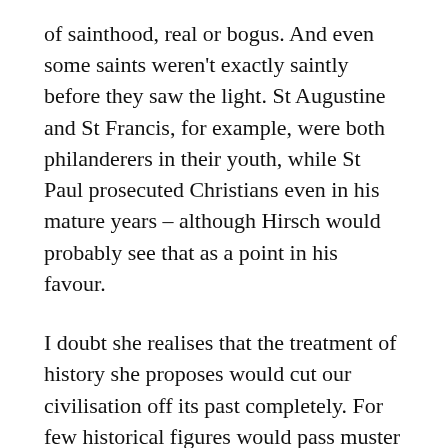of sainthood, real or bogus. And even some saints weren't exactly saintly before they saw the light. St Augustine and St Francis, for example, were both philanderers in their youth, while St Paul prosecuted Christians even in his mature years – although Hirsch would probably see that as a point in his favour.
I doubt she realises that the treatment of history she proposes would cut our civilisation off its past completely. For few historical figures would pass muster if held to the standards of our multi-culti modernity.
Unlike Nelson, George Washington, along with most Founding Fathers, was a slave owner.